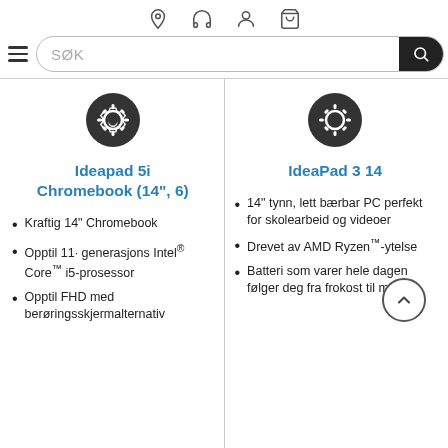Navigation icons: location, headset, account, cart
[Figure (screenshot): Search bar with hamburger menu, SØK placeholder text, and search button]
[Figure (illustration): Gear icon for Ideapad 5i Chromebook product]
Ideapad 5i Chromebook (14", 6)
Kraftig 14" Chromebook
Opptil 11· generasjons Intel® Core™ i5-prosessor
Opptil FHD med berøringsskjermalternativ
[Figure (illustration): Gear icon for IdeaPad 3 14 product]
IdeaPad 3 14
14" tynn, lett bærbar PC perfekt for skolearbeid og videoer
Drevet av AMD Ryzen™-ytelse
Batteri som varer hele dagen følger deg fra frokost til middag